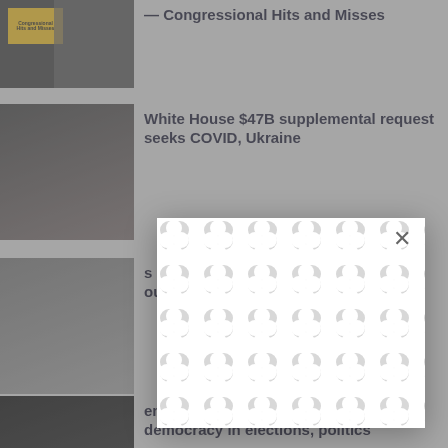[Figure (screenshot): News website screenshot showing multiple article thumbnails and headlines, with a modal/popup overlay containing a patterned background and close button]
— Congressional Hits and Misses
[Figure (photo): Photo of a woman at what appears to be a congressional hearing]
White House $47B supplemental request seeks COVID, Ukraine
[Figure (photo): Photo of people at an outdoor event]
...s dark ...ounty
[Figure (photo): Photo of a person speaking at a podium with presidential seal]
...end democracy in elections, politics